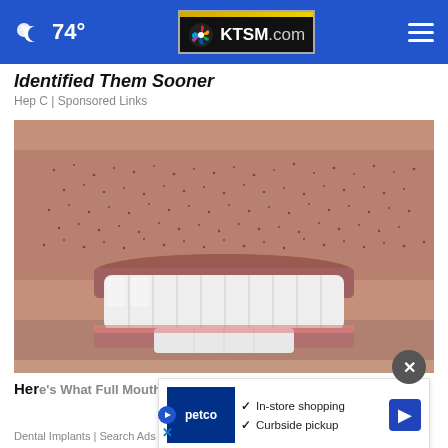74° KTSM.com
Identified Them Sooner
Hep C | Sponsored Links
[Figure (photo): Close-up of a man's mouth showing a bright white dental implant smile with stubble/beard visible above the teeth]
Here's What Full Mouth Dental Implants Should Cost
Dental Implants | Search Ads
[Figure (screenshot): Petco advertisement overlay with In-store shopping and Curbside pickup checkmarks, blue play button logo, and blue arrow navigation button]